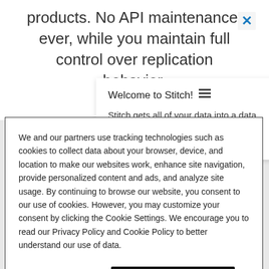products. No API maintenance, ever, while you maintain full control over replication behavior.
Welcome to Stitch! ≡
Stitch gets all of your data into a data warehouse in minutes. Ready to get started?
We and our partners use tracking technologies such as cookies to collect data about your browser, device, and location to make our websites work, enhance site navigation, provide personalized content and ads, and analyze site usage. By continuing to browse our website, you consent to our use of cookies. However, you may customize your consent by clicking the Cookie Settings. We encourage you to read our Privacy Policy and Cookie Policy to better understand our use of data.
Cookie Settings
Accept Cookies